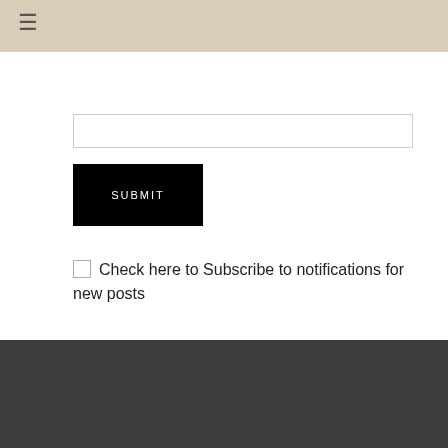≡
SUBMIT
Check here to Subscribe to notifications for new posts
SEARCH HERE